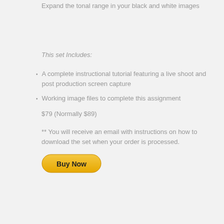Expand the tonal range in your black and white images
This set Includes:
A complete instructional tutorial featuring a live shoot and post production screen capture
Working image files to complete this assignment
$79 (Normally $89)
** You will receive an email with instructions on how to download the set when your order is processed.
[Figure (other): Buy Now button - yellow rounded rectangle button with bold black text]